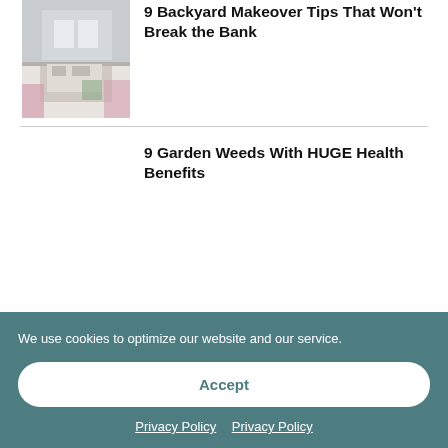[Figure (photo): Outdoor backyard patio with furniture, plants and flowers]
9 Backyard Makeover Tips That Won't Break the Bank
9 Garden Weeds With HUGE Health Benefits
We use cookies to optimize our website and our service.
Accept
Privacy Policy  Privacy Policy